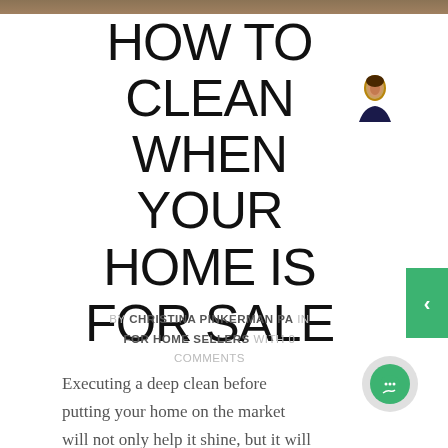HOW TO CLEAN WHEN YOUR HOME IS FOR SALE
BY CHRISTINA PINKERMAN PA IN FOR HOME SELLERS WITH 0 COMMENTS
Executing a deep clean before putting your home on the market will not only help it shine, but it will